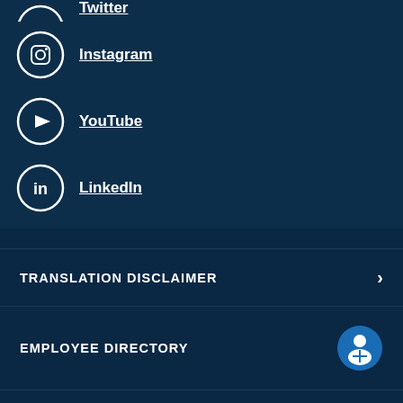Twitter (partially visible at top)
Instagram
YouTube
LinkedIn
TRANSLATION DISCLAIMER
EMPLOYEE DIRECTORY
ACCESSIBILITY